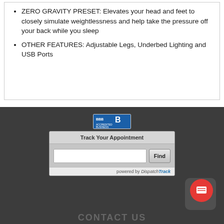ZERO GRAVITY PRESET: Elevates your head and feet to closely simulate weightlessness and help take the pressure off your back while you sleep
OTHER FEATURES: Adjustable Legs, Underbed Lighting and USB Ports
[Figure (logo): BBB Accredited Business badge]
Track Your Appointment
[Figure (screenshot): Track Your Appointment form with text input and Find button, powered by DispatchTrack]
[Figure (other): Red circular chat/messaging button]
CONTACT US